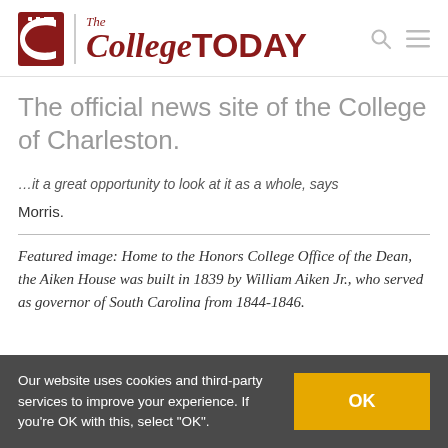[Figure (logo): The College TODAY logo with stylized red C and italic/bold serif text]
The official news site of the College of Charleston.
...it a great opportunity to look at it as a whole, says Morris.
Featured image: Home to the Honors College Office of the Dean, the Aiken House was built in 1839 by William Aiken Jr., who served as governor of South Carolina from 1844-1846.
Our website uses cookies and third-party services to improve your experience. If you're OK with this, select "OK".